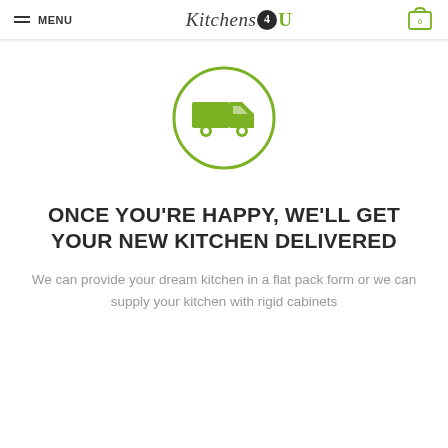MENU | Kitchens4U | 0
[Figure (illustration): Green circle outline with a green delivery truck icon inside]
ONCE YOU'RE HAPPY, WE'LL GET YOUR NEW KITCHEN DELIVERED
We can provide your dream kitchen in a flat pack form or we can supply your kitchen with rigid cabinets